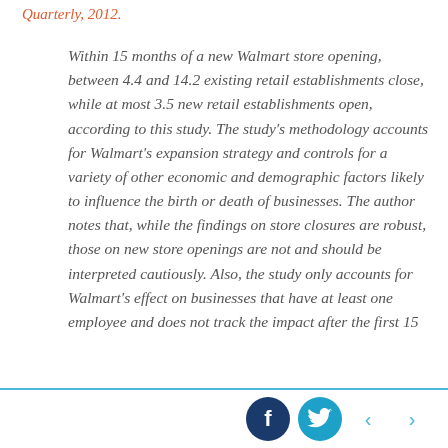Quarterly, 2012.
Within 15 months of a new Walmart store opening, between 4.4 and 14.2 existing retail establishments close, while at most 3.5 new retail establishments open, according to this study. The study's methodology accounts for Walmart's expansion strategy and controls for a variety of other economic and demographic factors likely to influence the birth or death of businesses. The author notes that, while the findings on store closures are robust, those on new store openings are not and should be interpreted cautiously. Also, the study only accounts for Walmart's effect on businesses that have at least one employee and does not track the impact after the first 15